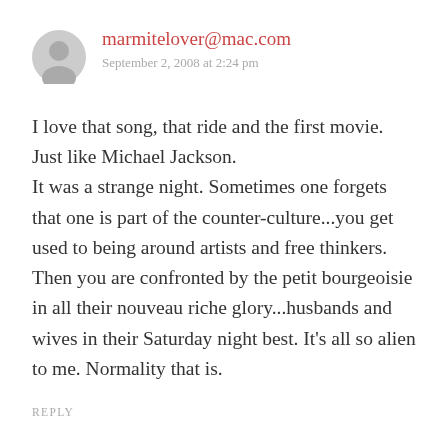[Figure (other): Gray circular user avatar icon]
marmitelover@mac.com
September 2, 2008 at 2:24 pm
I love that song, that ride and the first movie. Just like Michael Jackson.
It was a strange night. Sometimes one forgets that one is part of the counter-culture...you get used to being around artists and free thinkers. Then you are confronted by the petit bourgeoisie in all their nouveau riche glory...husbands and wives in their Saturday night best. It's all so alien to me. Normality that is.
REPLY